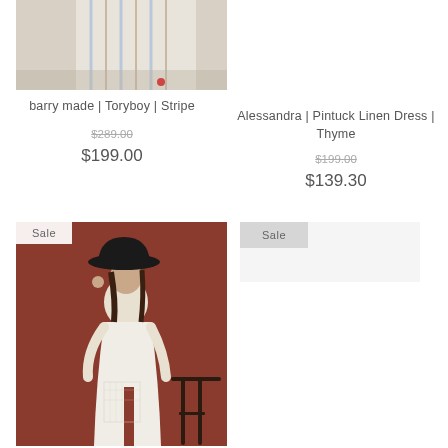[Figure (photo): Product photo of striped dress, barry made Toryboy Stripe, partially visible at top]
barry made | Toryboy | Stripe
$289.00 (original price, strikethrough)
$199.00
Alessandra | Pintuck Linen Dress | Thyme
$199.00 (original price, strikethrough)
$139.30
[Figure (photo): Woman in white lace maxi dress with black hat and black chair, on rust/terracotta background, Sale badge]
Sale
[Figure (photo): Second product image placeholder with Sale badge, right column]
Sale